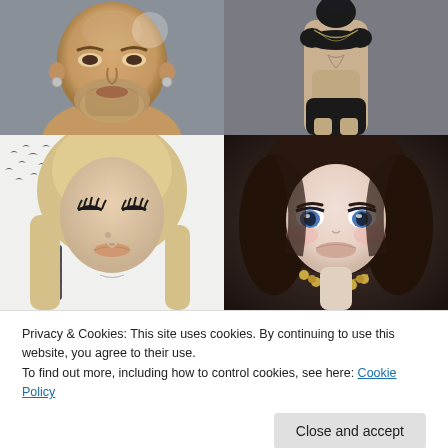[Figure (illustration): Four 2×2 grid of digital avatar/3D character portraits: top-left is a close-up of a male avatar with beard and earrings; top-right is a female avatar body in black bikini with tattoo; bottom-left is a blonde female avatar with feather earrings and birds silhouettes; bottom-right is a brunette female avatar with blue eyes and golden necklace.]
Privacy & Cookies: This site uses cookies. By continuing to use this website, you agree to their use.
To find out more, including how to control cookies, see here: Cookie Policy
Close and accept